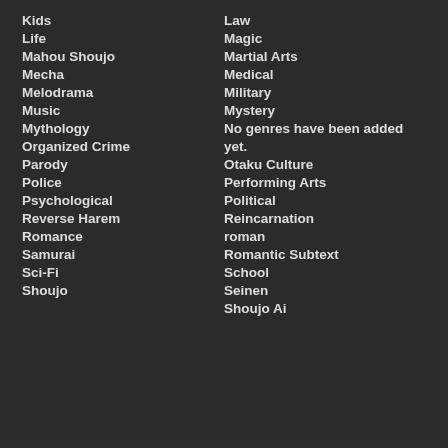Kids
Life
Mahou Shoujo
Mecha
Melodrama
Music
Mythology
Organized Crime
Parody
Police
Psychological
Reverse Harem
Romance
Samurai
Sci-Fi
Shoujo
Law
Magic
Martial Arts
Medical
Military
Mystery
No genres have been added yet.
Otaku Culture
Performing Arts
Political
Reincarnation
roman
Romantic Subtext
School
Seinen
Shoujo Ai